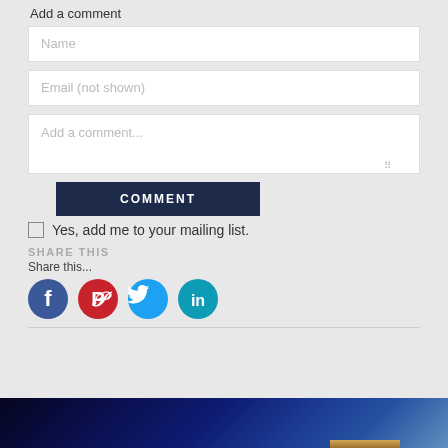Add a comment
Name
Email (not shown)
Add a comment...
COMMENT
Yes, add me to your mailing list.
SHARE THIS
Share this...
[Figure (illustration): Social media icons: Facebook (blue circle), Pinterest (red circle), Twitter (light blue circle), LinkedIn (teal circle)]
[Figure (photo): Partial view of a product (canvas or box) showing a blue space/galaxy themed image on top with a wooden base at the bottom right]